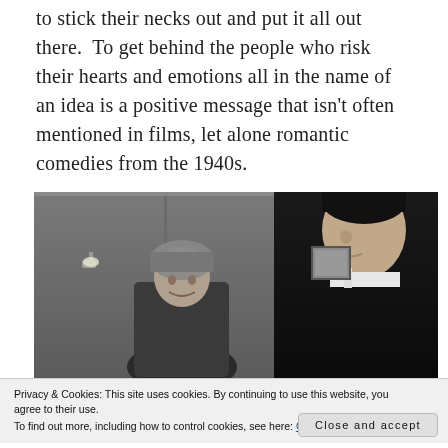to stick their necks out and put it all out there. To get behind the people who risk their hearts and emotions all in the name of an idea is a positive message that isn't often mentioned in films, let alone romantic comedies from the 1940s.
[Figure (photo): Black and white film still showing two people in conversation — a woman wearing a head covering on the left and a man in a suit on the right, indoors with paneled walls in background]
Privacy & Cookies: This site uses cookies. By continuing to use this website, you agree to their use.
To find out more, including how to control cookies, see here: Cookie Policy
Close and accept